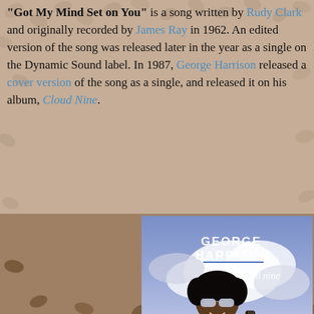"Got My Mind Set on You" is a song written by Rudy Clark and originally recorded by James Ray in 1962. An edited version of the song was released later in the year as a single on the Dynamic Sound label. In 1987, George Harrison released a cover version of the song as a single, and released it on his album, Cloud Nine.
[Figure (photo): Album cover of George Harrison's 'Cloud Nine' showing George Harrison wearing sunglasses and a patterned shirt, playing an electric guitar against a cloudy sky background. Text on the cover reads 'GEORGE HARRISON' and 'cloud nine'.]